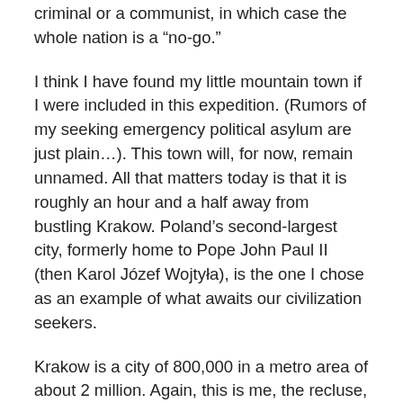criminal or a communist, in which case the whole nation is a “no-go.”
I think I have found my little mountain town if I were included in this expedition. (Rumors of my seeking emergency political asylum are just plain…). This town will, for now, remain unnamed. All that matters today is that it is roughly an hour and a half away from bustling Krakow. Poland’s second-largest city, formerly home to Pope John Paul II (then Karol Józef Wojtyła), is the one I chose as an example of what awaits our civilization seekers.
Krakow is a city of 800,000 in a metro area of about 2 million. Again, this is me, the recluse, praising a medium-sized city. I can do so because, based on what I’ve found, it’s simply incredible. It’s also extremely low-cost for the